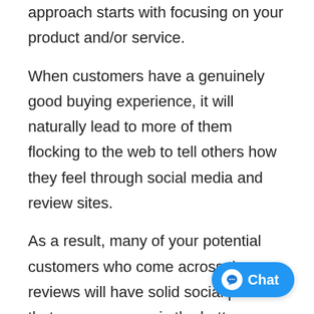approach starts with focusing on your product and/or service.
When customers have a genuinely good buying experience, it will naturally lead to more of them flocking to the web to tell others how they feel through social media and review sites.
As a result, many of your potential customers who come across these reviews will have solid social proof that your company is the better choice for a positive buying experience.
Above everything else, customers want t… they are being treated well. They want to feel like
[Figure (other): Blue rounded chat button with speech bubble icon and 'Chat' label in white text, positioned bottom-right corner]